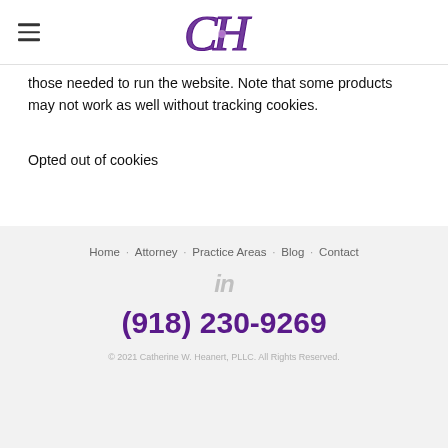CH [logo]
those needed to run the website. Note that some products may not work as well without tracking cookies.
Opted out of cookies
Home · Attorney · Practice Areas · Blog · Contact
in
(918) 230-9269
© 2021 Catherine W. Heanert, PLLC. All Rights Reserved.